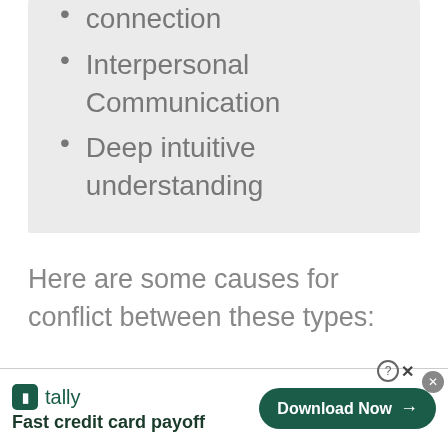connection
Interpersonal Communication
Deep intuitive understanding
Here are some causes for conflict between these types:
[Figure (other): Advertisement banner for Tally app: 'Fast credit card payoff' with Download Now button]